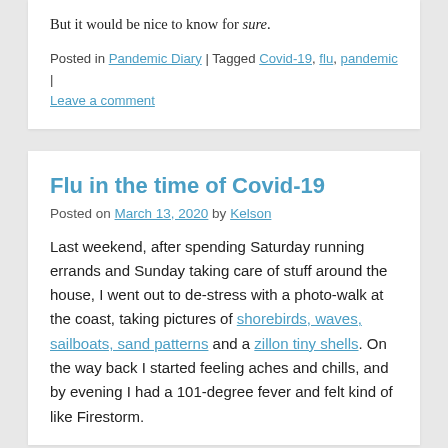But it would be nice to know for sure.
Posted in Pandemic Diary | Tagged Covid-19, flu, pandemic | Leave a comment
Flu in the time of Covid-19
Posted on March 13, 2020 by Kelson
Last weekend, after spending Saturday running errands and Sunday taking care of stuff around the house, I went out to de-stress with a photo-walk at the coast, taking pictures of shorebirds, waves, sailboats, sand patterns and a zillon tiny shells. On the way back I started feeling aches and chills, and by evening I had a 101-degree fever and felt kind of like Firestorm.